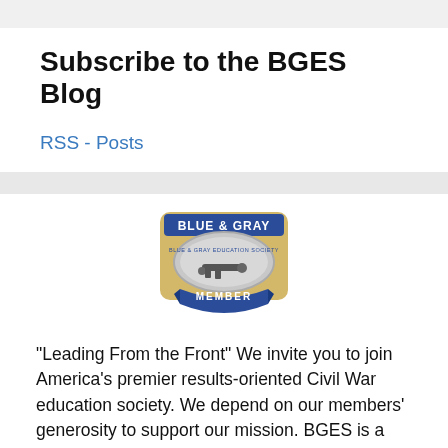Subscribe to the BGES Blog
RSS - Posts
[Figure (logo): Blue & Gray Education Society member badge/pin with cannon image and ribbon reading MEMBER]
"Leading From the Front" We invite you to join America's premier results-oriented Civil War education society. We depend on our members' generosity to support our mission. BGES is a 501(c)(3) organization; therefore, membership donations are